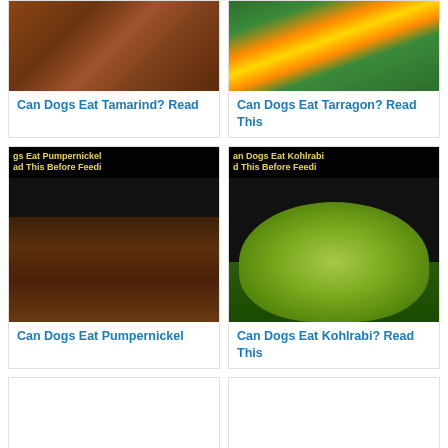[Figure (photo): Tamarind pods on a wooden surface]
Can Dogs Eat Tamarind? Read
[Figure (photo): Tarragon plant with yellow and orange flowers]
Can Dogs Eat Tarragon? Read This
[Figure (photo): Pumpernickel bread loaf slices with title overlay text: Can Dogs Eat Pumpernickel Read This Before Feedi]
Can Dogs Eat Pumpernickel
[Figure (photo): Kohlrabi vegetable with title overlay text: Can Dogs Eat Kohlrabi Read This Before Feedi]
Can Dogs Eat Kohlrabi? Read This